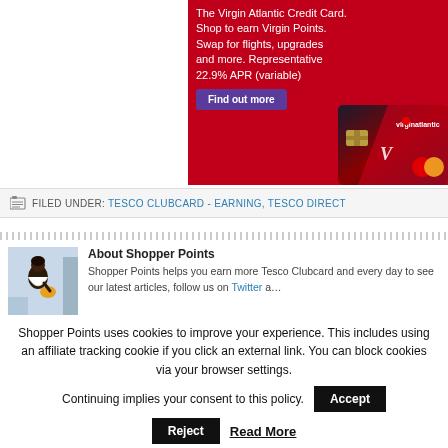[Figure (photo): Virgin Atlantic Credit Card advertisement banner with red background. Text reads: 'The Virgin Atlantic Credit Card. Shop to earn Virgin Points. Swap for flights, upgrades and more. Representative 22.9% APR (variable)' with a purple 'Find out more' button and an image of the Virgin Atlantic credit card.]
FILED UNDER: TESCO CLUBCARD - EARNING, TESCO DIRECT
[Figure (photo): Thumbnail image of a woman shopper for About Shopper Points section.]
About Shopper Points
Shopper Points helps you earn more Tesco Clubcard and every day to see our latest articles, follow us on Twitter a…
Shopper Points uses cookies to improve your experience. This includes using an affiliate tracking cookie if you click an external link. You can block cookies via your browser settings.

Continuing implies your consent to this policy.

Accept

Reject

Read More